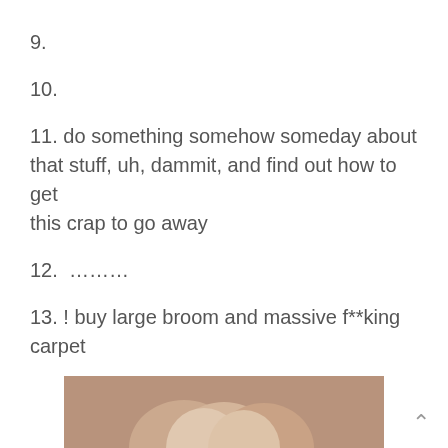9.
10.
11. do something somehow someday about that stuff, uh, dammit, and find out how to get this crap to go away
12. ………
13. ! buy large broom and massive f**king carpet
[Figure (photo): Partial view of garlic bulbs on a brown/tan background, cropped at bottom of page]